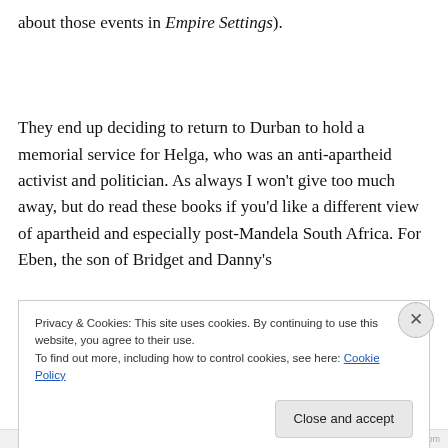about those events in Empire Settings).

They end up deciding to return to Durban to hold a memorial service for Helga, who was an anti-apartheid activist and politician. As always I won't give too much away, but do read these books if you'd like a different view of apartheid and especially post-Mandela South Africa. For Eben, the son of Bridget and Danny's
Privacy & Cookies: This site uses cookies. By continuing to use this website, you agree to their use.
To find out more, including how to control cookies, see here: Cookie Policy
Close and accept